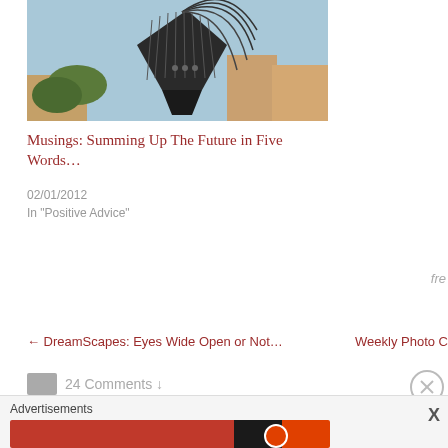[Figure (photo): A metal sculpture resembling a bird or harp-like structure with curved metal rods and a dark triangular base, photographed against a blue sky with buildings in the background.]
Musings: Summing Up The Future in Five Words…
02/01/2012
In "Positive Advice"
fre
← DreamScapes: Eyes Wide Open or Not…
Weekly Photo C
24 Comments ↓
Advertisements